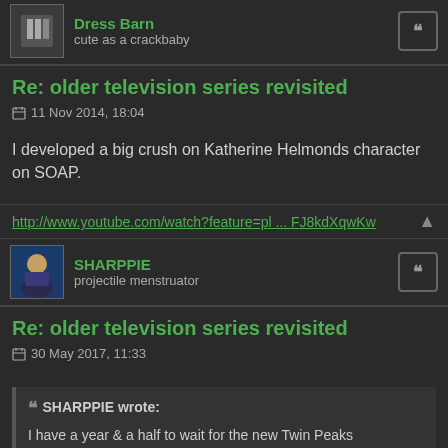Dress Barn
cute as a crackbaby
Re: older television series revisited
11 Nov 2014, 18:04
I developed a big crush on Katherine Helmonds character on SOAP.
http://www.youtube.com/watch?feature=pl ... FJ8kdXqwKw
SHARPPIE
projectile menstruator
Re: older television series revisited
30 May 2017, 11:33
SHARPPIE wrote:
I have a year & a half to wait for the new Twin Peaks episodes...hope I live that long.
So, I made it....but did it matter? Probably not. "you want answers...well fuck you, here's more questions" is where I see this